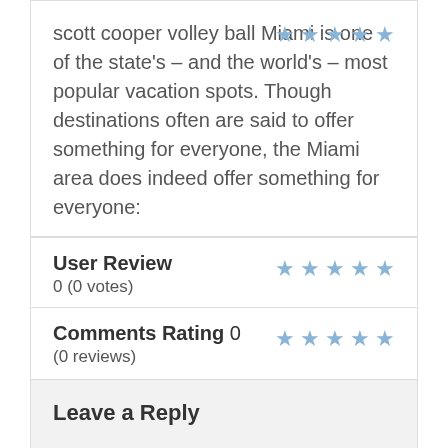scott cooper volley ball Miami is one of the state's – and the world's – most popular vacation spots. Though destinations often are said to offer something for everyone, the Miami area does indeed offer something for everyone:
User Review
0 (0 votes)
Comments Rating 0
(0 reviews)
Leave a Reply